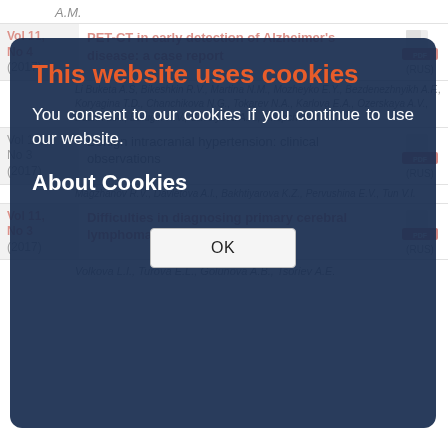A.M.
| Vol/No/Year | Title | PDF |
| --- | --- | --- |
| Vol 11, No 4 (2017) | PET-CT in early detection of Alzheimer's disease: a case report | (RUS) |
| Vol 11, No 3 (2017) | Benign intracranial hypertension: clinical observations | (RUS) |
Magzhanov R.V., Davletova A.I., Bakhtiyarova K.Z., Pervushina E.V., Tun V.I.
| Vol/No/Year | Title | PDF |
| --- | --- | --- |
| Vol 11, No 3 (2017) | Difficulties in diagnosing primary cerebral lymphoma (clinical case) | (RUS) |
Volkova L.I., Turova E.L., Golunova A.B., Tsoriev A.E.
This website uses cookies
You consent to our cookies if you continue to use our website.
About Cookies
OK